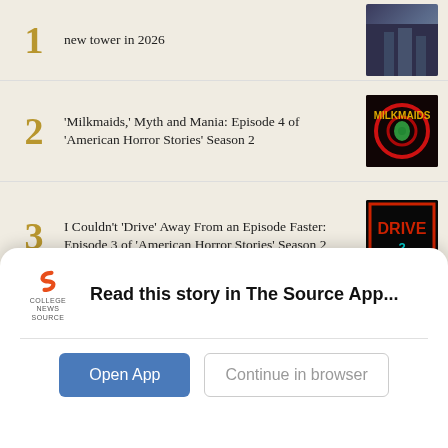1. [USC students begin expansion project…], to build new tower in 2026
2. 'Milkmaids,' Myth and Mania: Episode 4 of 'American Horror Stories' Season 2
3. I Couldn't 'Drive' Away From an Episode Faster: Episode 3 of 'American Horror Stories' Season 2
4. Together again, together forever in 'Adventure Time: Distant Lands'
5. Highland Quad to be demolished by 2024
Read this story in The Source App...
Open App
Continue in browser